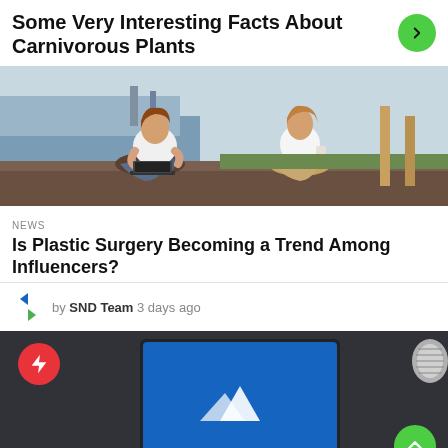Some Very Interesting Facts About Carnivorous Plants
[Figure (photo): Two women sitting outdoors near water, one using a laptop]
NEWS
Is Plastic Surgery Becoming a Trend Among Influencers?
by SND Team 3 days ago
[Figure (photo): Laptop with blue screen showing mountain/VPN logo, microphone on dark background]